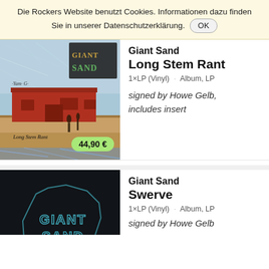Die Rockers Website benutzt Cookies. Informationen dazu finden Sie in unserer Datenschutzerklärung. OK
[Figure (photo): Album cover for Giant Sand - Long Stem Rant. Shows a red barn/shed in a desert landscape with two silhouetted figures. Giant Sand logo in top right corner with illustrated branches. Handwritten signature and 'Long Stem Rant' text at bottom. Price badge showing 44,90 €.]
Giant Sand
Long Stem Rant
1×LP (Vinyl) · Album, LP
signed by Howe Gelb, includes insert
[Figure (photo): Album cover for Giant Sand - Swerve. Dark/black background with Giant Sand logo outline in teal/cyan. Partially visible (cut off at bottom of page).]
Giant Sand
Swerve
1×LP (Vinyl) · Album, LP
signed by Howe Gelb